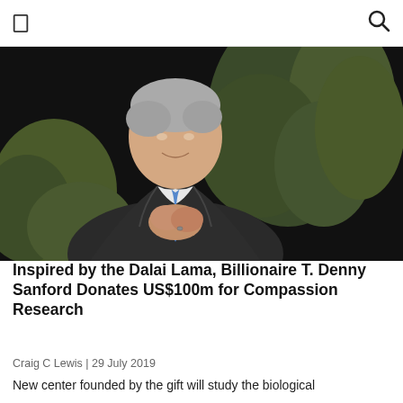[Figure (photo): Elderly man in dark suit and blue tie, hands clasped together, standing in front of green leafy plants against a dark background.]
Inspired by the Dalai Lama, Billionaire T. Denny Sanford Donates US$100m for Compassion Research
Craig C Lewis | 29 July 2019
New center founded by the gift will study the biological